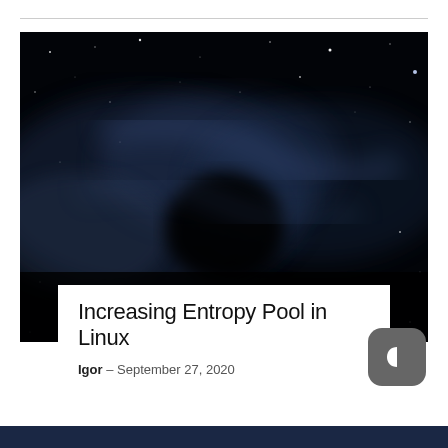[Figure (photo): Dark space/nebula photograph with blue-grey cosmic clouds and stars against a black background]
Increasing Entropy Pool in Linux
Igor – September 27, 2020